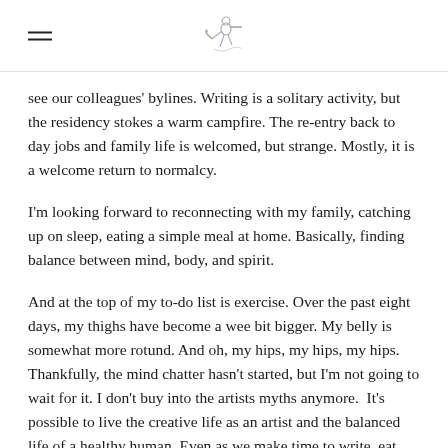[hamburger menu icon] [logo illustration]
see our colleagues' bylines. Writing is a solitary activity, but the residency stokes a warm campfire. The re-entry back to day jobs and family life is welcomed, but strange. Mostly, it is a welcome return to normalcy.
I'm looking forward to reconnecting with my family, catching up on sleep, eating a simple meal at home. Basically, finding balance between mind, body, and spirit.
And at the top of my to-do list is exercise. Over the past eight days, my thighs have become a wee bit bigger. My belly is somewhat more rotund. And oh, my hips, my hips, my hips. Thankfully, the mind chatter hasn't started, but I'm not going to wait for it. I don't buy into the artists myths anymore.  It's possible to live the creative life as an artist and the balanced life of a healthy human. Even as we make time to write, eat, sleep, we must make time to care for our physical bodies. They carry us through this creative life. They